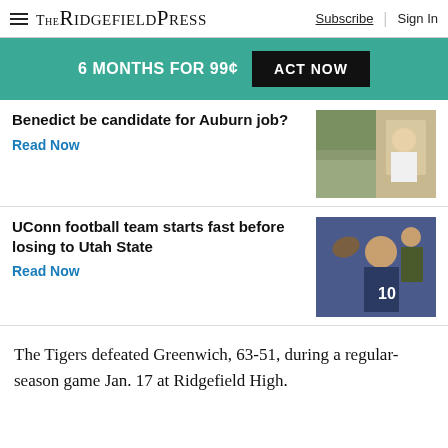The Ridgefield Press | Subscribe | Sign In
6 MONTHS FOR 99¢ ACT NOW
Benedict be candidate for Auburn job?
Read Now
[Figure (photo): Coach standing near football field]
UConn football team starts fast before losing to Utah State
Read Now
[Figure (photo): UConn football player #10 in action during a game]
The Tigers defeated Greenwich, 63-51, during a regular-season game Jan. 17 at Ridgefield High.